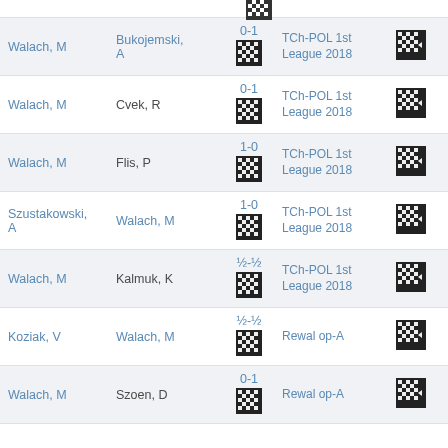| Player 1 | Player 2 | Score | Tournament |  |
| --- | --- | --- | --- | --- |
| Walach, M | Bukojemski, A | 0-1 | TCh-POL 1st League 2018 |  |
| Walach, M | Cvek, R | 0-1 | TCh-POL 1st League 2018 |  |
| Walach, M | Flis, P | 1-0 | TCh-POL 1st League 2018 |  |
| Szustakowski, A | Walach, M | 1-0 | TCh-POL 1st League 2018 |  |
| Walach, M | Kalmuk, K | ½-½ | TCh-POL 1st League 2018 |  |
| Koziak, V | Walach, M | ½-½ | Rewal op-A |  |
| Walach, M | Szoen, D | 0-1 | Rewal op-A |  |